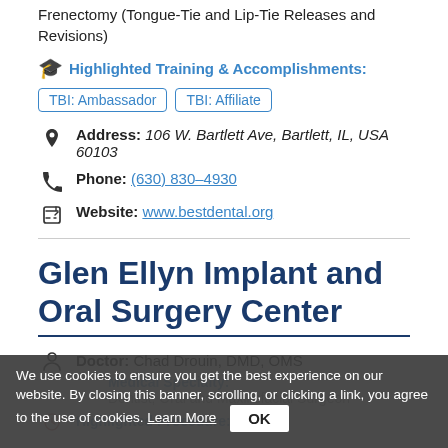Frenectomy (Tongue-Tie and Lip-Tie Releases and Revisions)
🎓 Highlighted Training & Accomplishments:
TBI: Ambassador
TBI: Affiliate
Address: 106 W. Bartlett Ave, Bartlett, IL, USA 60103
Phone: (630) 830-4930
Website: www.bestdental.org
Glen Ellyn Implant and Oral Surgery Center
Doctor: Chad Drouin, DMD, OMS
Medical Specialty: Dentist, Oral and Maxillofacial Surgeon
Highlighted Procedure:
We use cookies to ensure you get the best experience on our website. By closing this banner, scrolling, or clicking a link, you agree to the use of cookies. Learn More OK